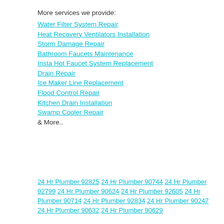More services we provide:
Water Filter System Repair
Heat Recovery Ventilators Installation
Storm Damage Repair
Bathroom Faucets Maintenance
Insta Hot Faucet System Replacement
Drain Repair
Ice Maker Line Replacement
Flood Control Repair
Kitchen Drain Installation
Swamp Cooler Repair
& More..
24 Hr Plumber 92825 24 Hr Plumber 90744 24 Hr Plumber 92799 24 Hr Plumber 90624 24 Hr Plumber 92605 24 Hr Plumber 90714 24 Hr Plumber 92834 24 Hr Plumber 90247 24 Hr Plumber 90632 24 Hr Plumber 90629